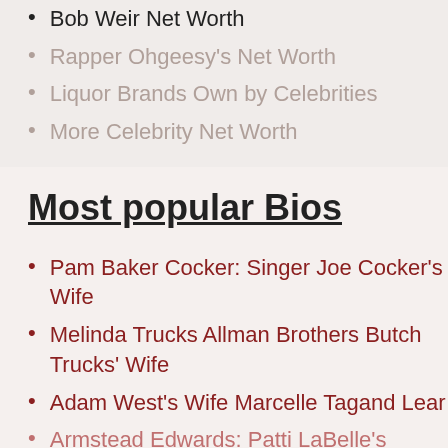Bob Weir Net Worth
Rapper Ohgeesy's Net Worth
Liquor Brands Own by Celebrities
More Celebrity Net Worth
Most popular Bios
Pam Baker Cocker: Singer Joe Cocker's Wife
Melinda Trucks Allman Brothers Butch Trucks' Wife
Adam West's Wife Marcelle Tagand Lear
Armstead Edwards: Patti LaBelle's